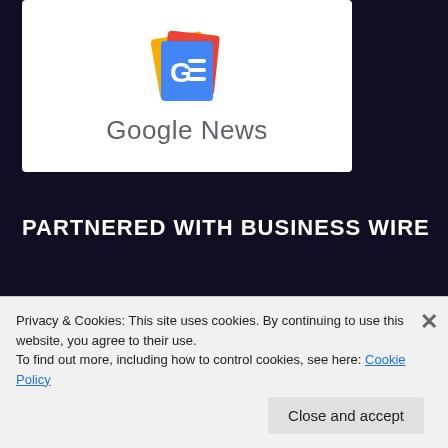[Figure (logo): Google News logo with colored card layers (yellow, red, blue) and 'G=' icon, below which reads 'Google News' in gray sans-serif text]
PARTNERED WITH BUSINESS WIRE
[Figure (logo): Business Wire logo showing a green globe with green arc lines]
Privacy & Cookies: This site uses cookies. By continuing to use this website, you agree to their use.
To find out more, including how to control cookies, see here: Cookie Policy
Close and accept